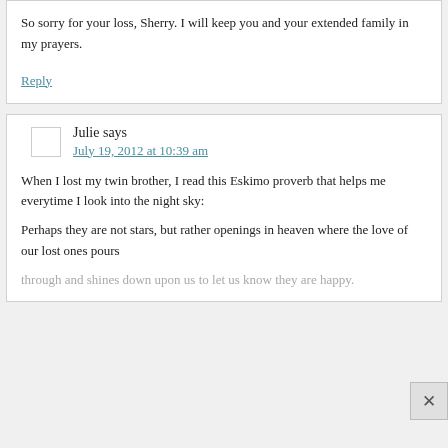So sorry for your loss, Sherry. I will keep you and your extended family in my prayers.
Reply
Julie says
July 19, 2012 at 10:39 am
When I lost my twin brother, I read this Eskimo proverb that helps me everytime I look into the night sky:
Perhaps they are not stars, but rather openings in heaven where the love of our lost ones pours through and shines down upon us to let us know they are happy.